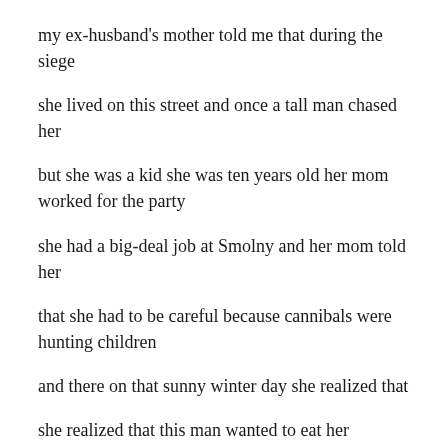my ex-husband's mother told me that during the siege
she lived on this street and once a tall man chased her
but she was a kid she was ten years old her mom worked for the party
she had a big-deal job at Smolny and her mom told her
that she had to be careful because cannibals were hunting children
and there on that sunny winter day she realized that
she realized that this man wanted to eat her